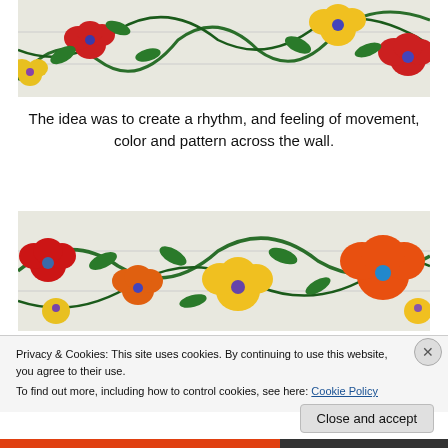[Figure (photo): Photograph of a painted wall mural with colorful flowers (red, yellow) and green leaves on vines against a white tiled/paneled wall background. Top portion of the mural is visible.]
The idea was to create a rhythm, and feeling of movement, color and pattern across the wall.
[Figure (photo): Photograph of a painted wall mural with colorful flowers (red, yellow, orange) and green leaves on vines against a white tiled/paneled wall background. Lower portion of the mural showing more detail.]
Privacy & Cookies: This site uses cookies. By continuing to use this website, you agree to their use.
To find out more, including how to control cookies, see here: Cookie Policy